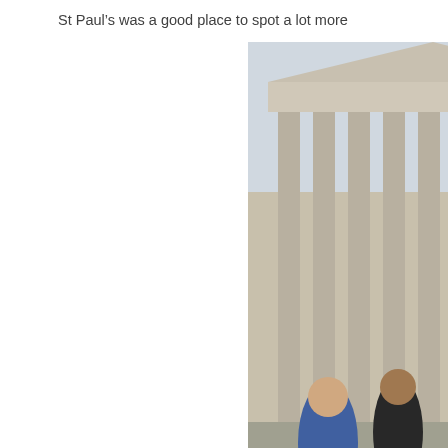St Paul’s was a good place to spot a lot more
[Figure (photo): Photograph showing St Paul's Cathedral in London with tourists in the foreground, and a Jacqueline Wilson book cover featuring illustrated cartoon children characters in the lower half]
[Figure (photo): Photograph showing people outdoors, possibly near a park or street, with Jacqueline Wilson book covers visible in bright colors (red, yellow) at the bottom]